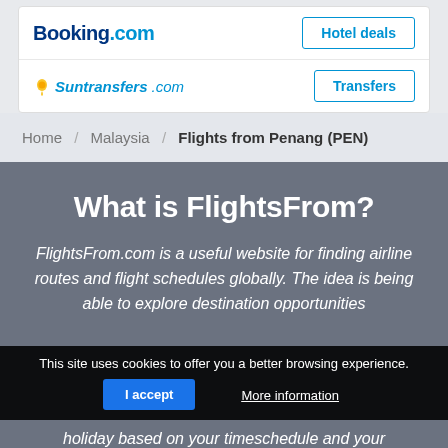[Figure (logo): Booking.com logo with 'Hotel deals' button]
[Figure (logo): Suntransfers.com logo with 'Transfers' button]
Home / Malaysia / Flights from Penang (PEN)
What is FlightsFrom?
FlightsFrom.com is a useful website for finding airline routes and flight schedules globally. The idea is being able to explore destination opportunities
This site uses cookies to offer you a better browsing experience.
I accept   More information
holiday based on your timeschedule and your